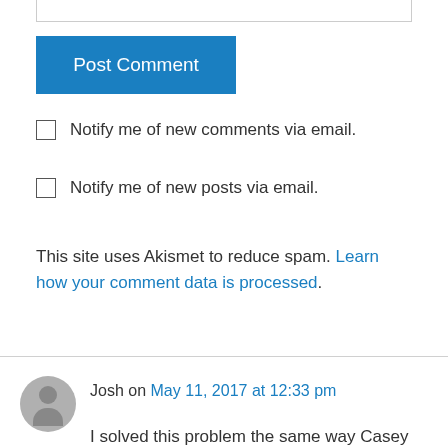[Figure (other): Text input field border (top portion visible)]
[Figure (other): Post Comment button, blue background]
Notify me of new comments via email.
Notify me of new posts via email.
This site uses Akismet to reduce spam. Learn how your comment data is processed.
Josh on May 11, 2017 at 12:33 pm
I solved this problem the same way Casey Muratori did in Handmade Hero. I pass the -PDB parameter to the call to cl when I recompile the game DLL using %random% in the build batch file to generate a random file name. When VC++